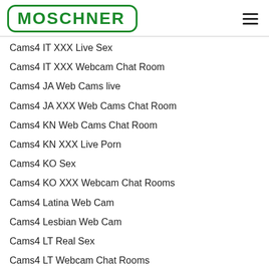[Figure (logo): MOSCHNER logo in green with rounded rectangle border]
Cams4 IT XXX Live Sex
Cams4 IT XXX Webcam Chat Room
Cams4 JA Web Cams live
Cams4 JA XXX Web Cams Chat Room
Cams4 KN Web Cams Chat Room
Cams4 KN XXX Live Porn
Cams4 KO Sex
Cams4 KO XXX Webcam Chat Rooms
Cams4 Latina Web Cam
Cams4 Lesbian Web Cam
Cams4 LT Real Sex
Cams4 LT Webcam Chat Rooms